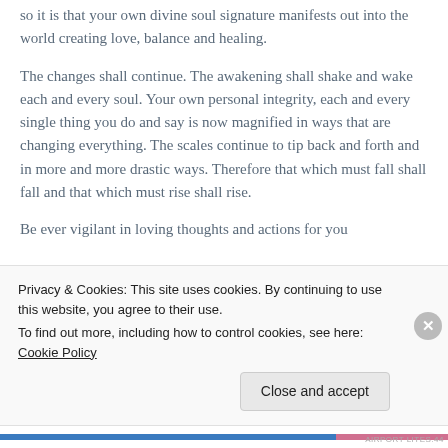so it is that your own divine soul signature manifests out into the world creating love, balance and healing.
The changes shall continue. The awakening shall shake and wake each and every soul. Your own personal integrity, each and every single thing you do and say is now magnified in ways that are changing everything. The scales continue to tip back and forth and in more and more drastic ways. Therefore that which must fall shall fall and that which must rise shall rise.
Be ever vigilant in loving thoughts and actions for you shall be rewarded abundantly in every time and for...
Privacy & Cookies: This site uses cookies. By continuing to use this website, you agree to their use.
To find out more, including how to control cookies, see here: Cookie Policy

Close and accept